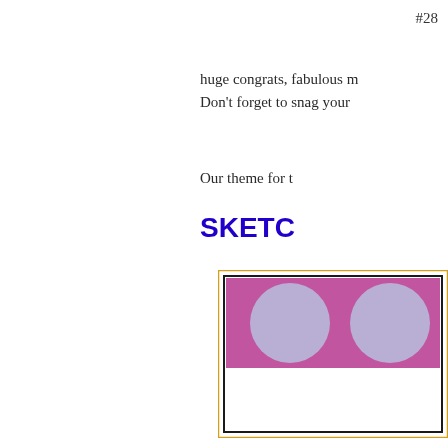#28
huge congrats, fabulous m
Don't forget to snag your
Our theme for t
SKETC
[Figure (illustration): A card layout sketch showing a magenta/purple horizontal band with two large light-purple/lavender circles on it, and a white rectangular area below, all inside a black inner border and a golden-yellow outer border.]